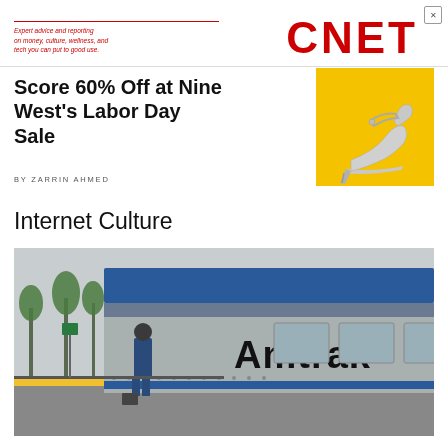Expert advice and reporting on money, culture, wellness, and tech you can put to good use. CNET
Score 60% Off at Nine West's Labor Day Sale
[Figure (photo): Gold/yellow background with silver high-heel sandal shoe advertisement]
BY ZARRIN AHMED
Internet Culture
[Figure (photo): Amtrak train at a station platform with passengers boarding, palm trees visible in background. The side of the train shows the Amtrak logo in large dark letters.]